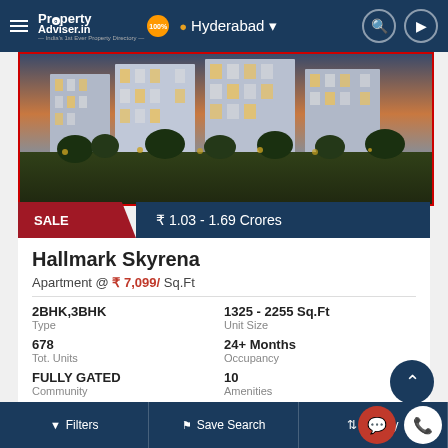PropertyAdviser.in — India's 1st Ever Property Directory — Hyderabad
[Figure (photo): Exterior night-time photograph of Hallmark Skyrena apartment complex with illuminated buildings and landscaping]
SALE  ₹ 1.03 - 1.69 Crores
Hallmark Skyrena
Apartment @ ₹ 7,099/ Sq.Ft
| Property | Value |
| --- | --- |
| 2BHK,3BHK | 1325 - 2255 Sq.Ft |
| Type | Unit Size |
| 678 | 24+ Months |
| Tot. Units | Occupancy |
| FULLY GATED | 10 |
| Community | Amenities |
RERA Approved
Filters  Save Search  Sort by